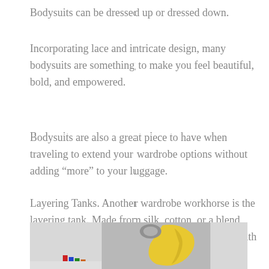Bodysuits can be dressed up or dressed down.
Incorporating lace and intricate design, many bodysuits are something to make you feel beautiful, bold, and empowered.
Bodysuits are also a great piece to have when traveling to extend your wardrobe options without adding “more” to your luggage.
Layering Tanks. Another wardrobe workhorse is the layering tank. Made from silk, cotton, or a blend, these versatile pieces add a pop of color and warmth when needed.
[Figure (photo): Photo of a yellow garment or bodysuit with colorful accessories displayed on or near a metallic surface]